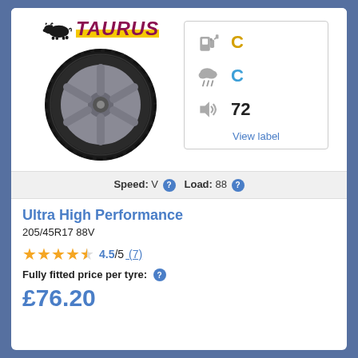[Figure (logo): Taurus brand logo with bull silhouette and TAURUS text on yellow stripe]
[Figure (photo): Taurus Ultra High Performance tyre on alloy wheel]
[Figure (infographic): EU tyre label showing fuel efficiency C (yellow), wet grip C (blue), noise 72 dB, with View label link]
Speed: V  Load: 88
Ultra High Performance
205/45R17 88V
4.5/5 (7)
Fully fitted price per tyre:
£76.20